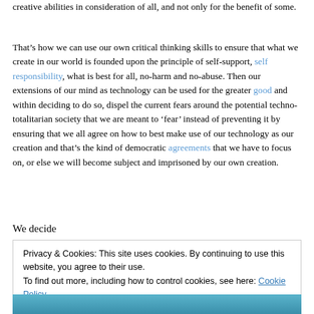creative abilities in consideration of all, and not only for the benefit of some.
That’s how we can use our own critical thinking skills to ensure that what we create in our world is founded upon the principle of self-support, self responsibility, what is best for all, no-harm and no-abuse. Then our extensions of our mind as technology can be used for the greater good and within deciding to do so, dispel the current fears around the potential techno-totalitarian society that we are meant to ‘fear’ instead of preventing it by ensuring that we all agree on how to best make use of our technology as our creation and that’s the kind of democratic agreements that we have to focus on, or else we will become subject and imprisoned by our own creation.
We decide
Privacy & Cookies: This site uses cookies. By continuing to use this website, you agree to their use.
To find out more, including how to control cookies, see here: Cookie Policy
[Figure (photo): A photo strip at the bottom of the page showing a partial image, appears to be a person or object with blue tones.]